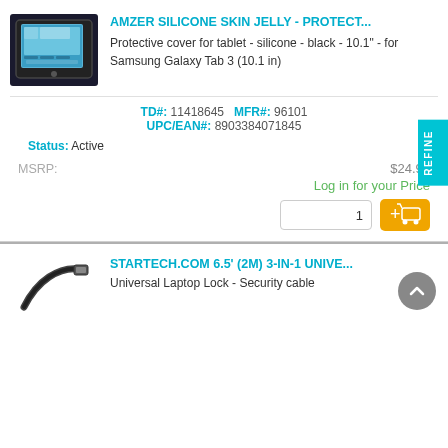AMZER SILICONE SKIN JELLY - PROTECT...
Protective cover for tablet - silicone - black - 10.1" - for Samsung Galaxy Tab 3 (10.1 in)
TD#: 11418645   MFR#: 96101   UPC/EAN#: 8903384071845
Status: Active
MSRP: $24.95
Log in for your Price
STARTECH.COM 6.5' (2M) 3-IN-1 UNIVE...
Universal Laptop Lock - Security cable